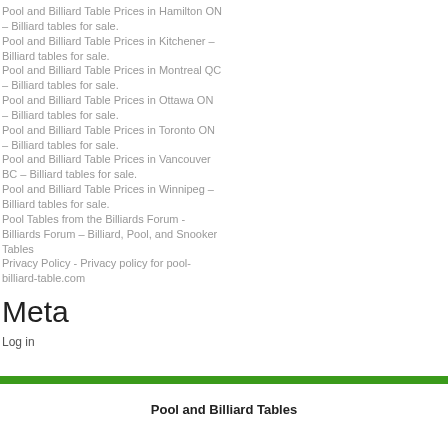Pool and Billiard Table Prices in Hamilton ON – Billiard tables for sale.
Pool and Billiard Table Prices in Kitchener – Billiard tables for sale.
Pool and Billiard Table Prices in Montreal QC – Billiard tables for sale.
Pool and Billiard Table Prices in Ottawa ON – Billiard tables for sale.
Pool and Billiard Table Prices in Toronto ON – Billiard tables for sale.
Pool and Billiard Table Prices in Vancouver BC – Billiard tables for sale.
Pool and Billiard Table Prices in Winnipeg – Billiard tables for sale.
Pool Tables from the Billiards Forum - Billiards Forum – Billiard, Pool, and Snooker Tables
Privacy Policy - Privacy policy for pool-billiard-table.com
Meta
Log in
Pool and Billiard Tables